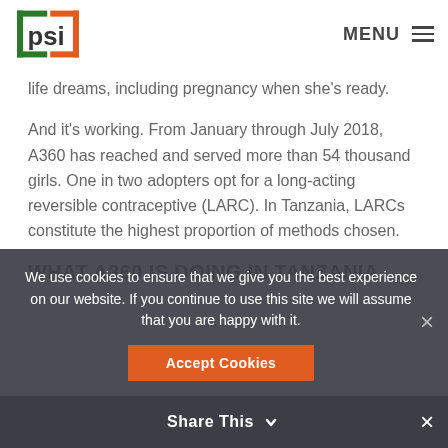PSI | MENU
life dreams, including pregnancy when she's ready.
And it's working. From January through July 2018, A360 has reached and served more than 54 thousand girls. One in two adopters opt for a long-acting reversible contraceptive (LARC). In Tanzania, LARCs constitute the highest proportion of methods chosen.
WHAT A360 IS DOING IN TANZANIA
We use cookies to ensure that we give you the best experience on our website. If you continue to use this site we will assume that you are happy with it.
Share This